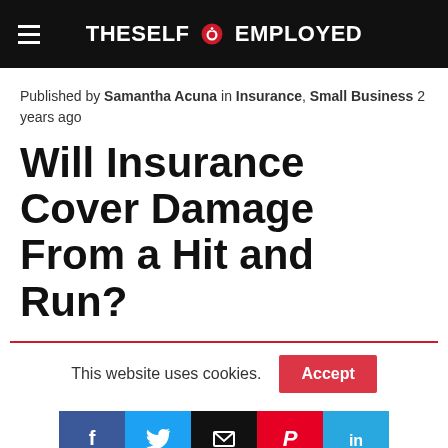THESELF EMPLOYED
Published by Samantha Acuna in Insurance, Small Business 2 years ago
Will Insurance Cover Damage From a Hit and Run?
This website uses cookies.
[Figure (infographic): Social share buttons: Facebook, Twitter, Email, Pinterest, LinkedIn]